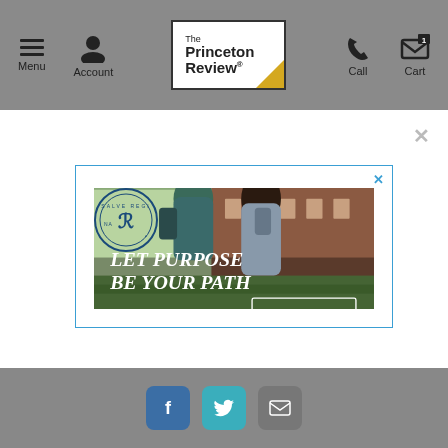Menu | Account | The Princeton Review | Call | Cart
[Figure (screenshot): The Princeton Review website navigation bar with Menu, Account, logo, Call, and Cart icons]
[Figure (photo): Salve Regina University advertisement showing two students walking on campus with text 'LET PURPOSE BE YOUR PATH' and 'LEARN MORE' button and subtext 'Make the most of life and learning on Salve Regina's coastal campus.']
Facebook | Twitter | Email social media icons